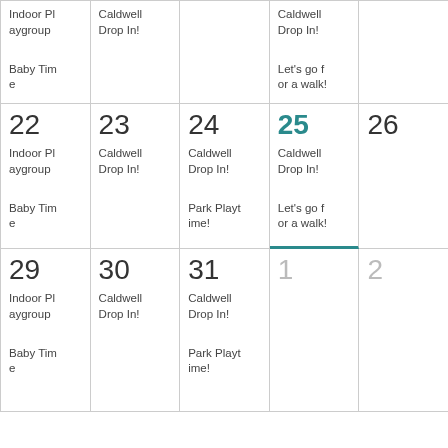| Mon | Tue | Wed | Thu | Fri |
| --- | --- | --- | --- | --- |
| Indoor Playgroup
Baby Time | Caldwell Drop In! |  | Caldwell Drop In!
Let's go for a walk! |  |
| 22
Indoor Playgroup
Baby Time | 23
Caldwell Drop In! | 24
Caldwell Drop In!
Park Playtime! | 25
Caldwell Drop In!
Let's go for a walk! | 26 |
| 29
Indoor Playgroup
Baby Time | 30
Caldwell Drop In! | 31
Caldwell Drop In!
Park Playtime! | 1 | 2 |